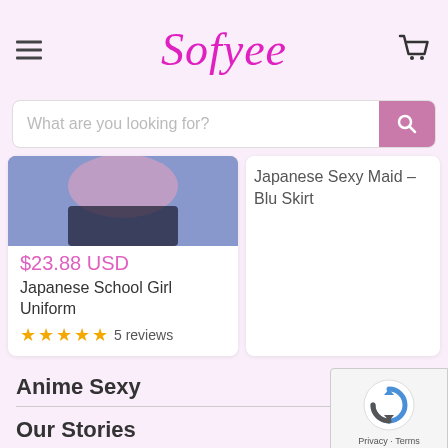Sofyee
What are you looking for?
[Figure (photo): Product photo partially visible - Japanese School Girl Uniform costume]
$23.88 USD
Japanese School Girl Uniform
5 reviews
Japanese Sexy Maid -Blu Skirt
Anime Sexy
Our Stories